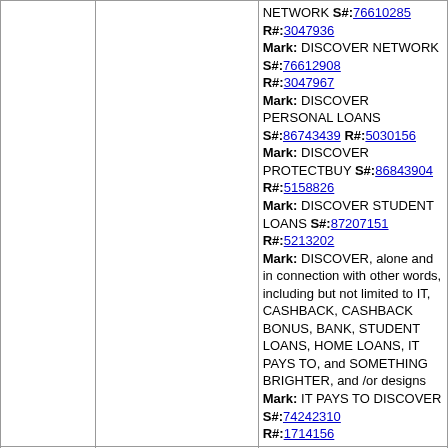| Serial/Date | Applicant/Mark | Owner/Correspondent |
| --- | --- | --- |
|  |  | NETWORK S#:76610285 R#:3047936 Mark: DISCOVER NETWORK S#:76612908 R#:3047967 Mark: DISCOVER PERSONAL LOANS S#:86743439 R#:5030156 Mark: DISCOVER PROTECTBUY S#:86843904 R#:5158826 Mark: DISCOVER STUDENT LOANS S#:87207151 R#:5213202 Mark: DISCOVER, alone and in connection with other words, including but not limited to IT, CASHBACK, CASHBACK BONUS, BANK, STUDENT LOANS, HOME LOANS, IT PAYS TO, and SOMETHING BRIGHTER, and /or designs Mark: IT PAYS TO DISCOVER S#:74242310 R#:1714156 |
| 88086517 04/04/2022 | Riopel, Jerald RIOPEL, JERALD Mark: THE WUBBA S#:88086517 | Trebco Specialty Products, Inc. DEBORAH K. SQUIERS / ALLISON R. FURNARI |